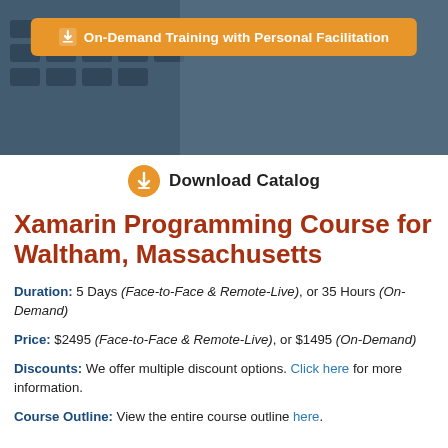[Figure (photo): Dark blue-grey hero banner with a keyboard in the background and an orange button reading 'On-Demand Training with Personal Facilitation']
[Figure (other): Download Catalog button with orange download icon]
Xamarin Programming Course for Waltham, Massachusetts
Duration: 5 Days (Face-to-Face & Remote-Live), or 35 Hours (On-Demand)
Price: $2495 (Face-to-Face & Remote-Live), or $1495 (On-Demand)
Discounts: We offer multiple discount options. Click here for more information.
Course Outline: View the entire course outline here.